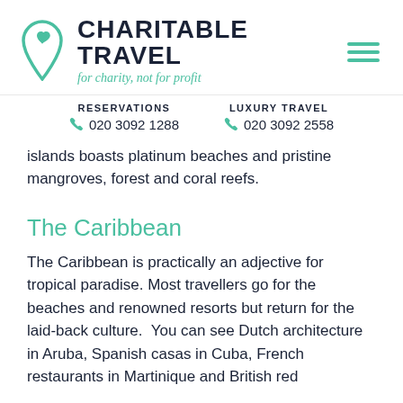[Figure (logo): Charitable Travel logo with location pin icon containing a heart, bold dark navy text 'CHARITABLE TRAVEL', italic teal tagline 'for charity, not for profit', and a teal hamburger menu icon on the right]
RESERVATIONS
📞 020 3092 1288
LUXURY TRAVEL
📞 020 3092 2558
islands boasts platinum beaches and pristine mangroves, forest and coral reefs.
The Caribbean
The Caribbean is practically an adjective for tropical paradise. Most travellers go for the beaches and renowned resorts but return for the laid-back culture.  You can see Dutch architecture in Aruba, Spanish casas in Cuba, French restaurants in Martinique and British red